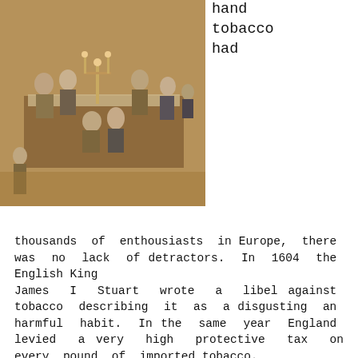[Figure (photo): Historical painting depicting a group of elegantly dressed 18th century gentlemen seated around a dining table with candelabras, in conversation.]
hand
tobacco
had
thousands of enthousiasts in Europe, there was no lack of detractors. In 1604 the English King
James I Stuart wrote a libel against tobacco describing it as a disgusting an harmful habit. In the same year England levied a very high protective tax on every pound of imported tobacco.
Tobacco also reached the Ottoman Empire around the end of the XVI century where it was used at first mainly as a medicament, but later it rapidly spread among the population